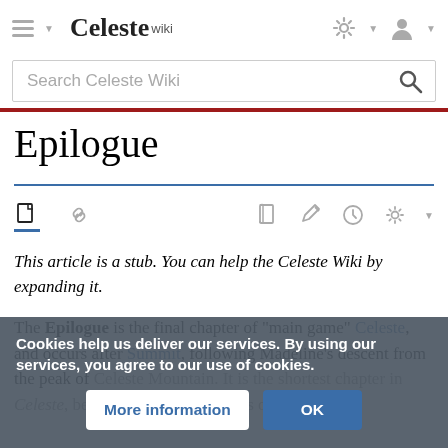Celeste wiki — Search Celeste Wiki
Epilogue
This article is a stub. You can help the Celeste Wiki by expanding it.
The Epilogue is the final chapter of "main game" Celeste, and occurs after Summit, following Madeline's descent from the peak of Celeste Mountain. It is the shortest chapter in Celeste, because most of it consists of cutscenes.
Cookies help us deliver our services. By using our services, you agree to our use of cookies.